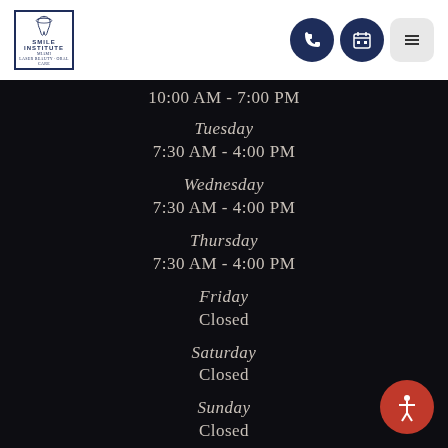[Figure (logo): Smile Institute dental clinic logo with tooth icon in a square border]
10:00 AM - 7:00 PM
Tuesday
7:30 AM - 4:00 PM
Wednesday
7:30 AM - 4:00 PM
Thursday
7:30 AM - 4:00 PM
Friday
Closed
Saturday
Closed
Sunday
Closed